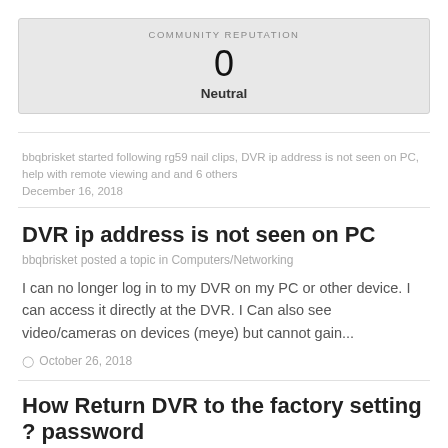COMMUNITY REPUTATION
0
Neutral
bbqbrisket started following rg59 nail clips, DVR ip address is not seen on PC, help with remote viewing and and 6 others
December 16, 2018
DVR ip address is not seen on PC
bbqbrisket posted a topic in Computers/Networking
I can no longer log in to my DVR on my PC or other device. I can access it directly at the DVR. I Can also see video/cameras on devices (meye) but cannot gain...
October 26, 2018
How Return DVR to the factory setting ? password